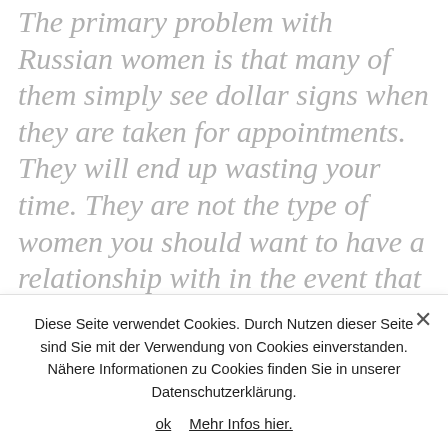The primary problem with Russian women is that many of them simply see dollar signs when they are taken for appointments. They will end up wasting your time. They are not the type of women you should want to have a relationship with in the event that you where looking for a long term partner. Nevertheless , if you are certainly not in a position to meet beautiful Russian women you could attempt
Diese Seite verwendet Cookies. Durch Nutzen dieser Seite sind Sie mit der Verwendung von Cookies einverstanden. Nähere Informationen zu Cookies finden Sie in unserer Datenschutzerklärung.
ok  Mehr Infos hier.